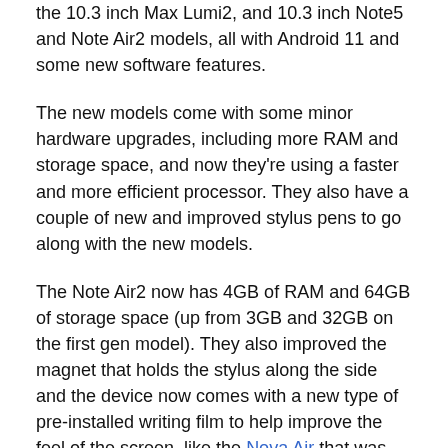the 10.3 inch Max Lumi2, and 10.3 inch Note5 and Note Air2 models, all with Android 11 and some new software features.
The new models come with some minor hardware upgrades, including more RAM and storage space, and now they're using a faster and more efficient processor. They also have a couple of new and improved stylus pens to go along with the new models.
The Note Air2 now has 4GB of RAM and 64GB of storage space (up from 3GB and 32GB on the first gen model). They also improved the magnet that holds the stylus along the side and the device now comes with a new type of pre-installed writing film to help improve the feel of the screen, like the Nova Air that was released a couple months ago. Otherwise it seems to be mostly the same as before.